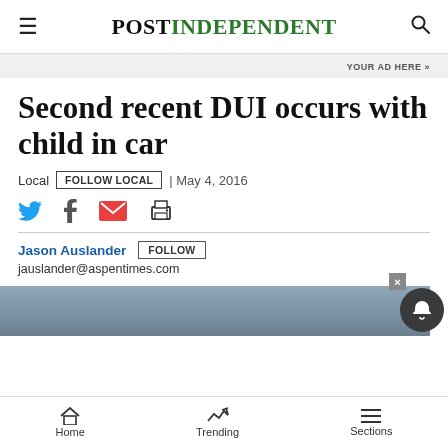Post Independent
YOUR AD HERE »
Second recent DUI occurs with child in car
Local  FOLLOW LOCAL  | May 4, 2016
Jason Auslander  FOLLOW
jauslander@aspentimes.com
[Figure (photo): Bottom portion of a vehicle, partial image in gray/blue tones]
Home  Trending  Sections